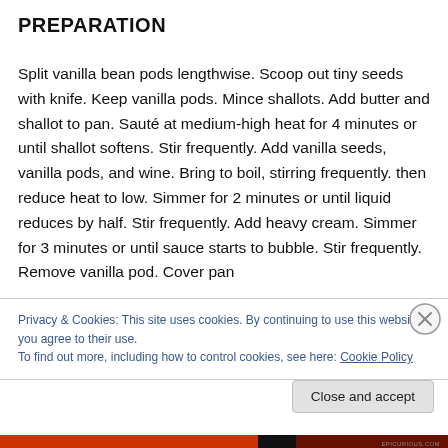PREPARATION
Split vanilla bean pods lengthwise. Scoop out tiny seeds with knife. Keep vanilla pods. Mince shallots. Add butter and shallot to pan. Sauté at medium-high heat for 4 minutes or until shallot softens. Stir frequently. Add vanilla seeds, vanilla pods, and wine. Bring to boil, stirring frequently. then reduce heat to low. Simmer for 2 minutes or until liquid reduces by half. Stir frequently. Add heavy cream. Simmer for 3 minutes or until sauce starts to bubble. Stir frequently. Remove vanilla pod. Cover pan
Privacy & Cookies: This site uses cookies. By continuing to use this website, you agree to their use.
To find out more, including how to control cookies, see here: Cookie Policy
Close and accept